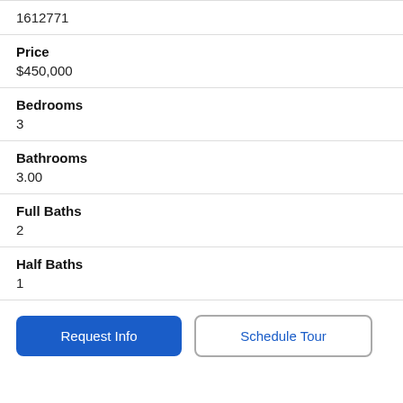| 1612771 |
| Price | $450,000 |
| Bedrooms | 3 |
| Bathrooms | 3.00 |
| Full Baths | 2 |
| Half Baths | 1 |
Request Info
Schedule Tour